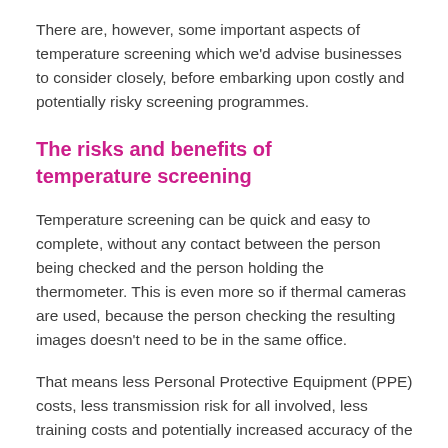There are, however, some important aspects of temperature screening which we'd advise businesses to consider closely, before embarking upon costly and potentially risky screening programmes.
The risks and benefits of temperature screening
Temperature screening can be quick and easy to complete, without any contact between the person being checked and the person holding the thermometer. This is even more so if thermal cameras are used, because the person checking the resulting images doesn't need to be in the same office.
That means less Personal Protective Equipment (PPE) costs, less transmission risk for all involved, less training costs and potentially increased accuracy of the measurement (some manufacturers claim that thermal